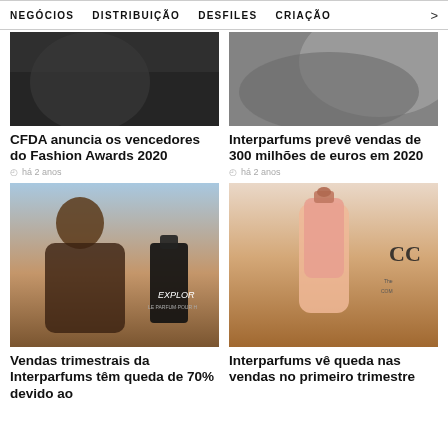NEGÓCIOS   DISTRIBUIÇÃO   DESFILES   CRIAÇÃO   >
[Figure (photo): Black and white photo of a person in dark clothing]
CFDA anuncia os vencedores do Fashion Awards 2020
há 2 anos
[Figure (photo): Black and white close-up photo of a luxury car]
Interparfums prevê vendas de 300 milhões de euros em 2020
há 2 anos
[Figure (photo): Man in leather jacket with Explorer perfume bottle in outdoor desert setting]
Vendas trimestrais da Interparfums têm queda de 70% devido ao
[Figure (photo): Hand holding a pink perfume bottle against desert landscape, with CC logo partially visible]
Interparfums vê queda nas vendas no primeiro trimestre